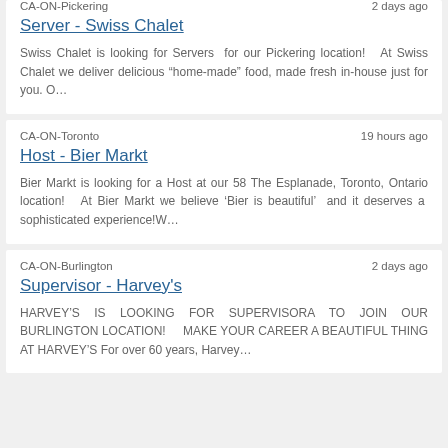CA-ON-Pickering
2 days ago
Server - Swiss Chalet
Swiss Chalet is looking for Servers  for our Pickering location!   At Swiss Chalet we deliver delicious “home-made” food, made fresh in-house just for you. O…
CA-ON-Toronto
19 hours ago
Host - Bier Markt
Bier Markt is looking for a Host at our 58 The Esplanade, Toronto, Ontario location!   At Bier Markt we believe ‘Bier is beautiful’  and it deserves a  sophisticated experience!W…
CA-ON-Burlington
2 days ago
Supervisor - Harvey's
HARVEY’S IS LOOKING FOR SUPERVISORA TO JOIN OUR BURLINGTON LOCATION!    MAKE YOUR CAREER A BEAUTIFUL THING AT HARVEY’S For over 60 years, Harvey…